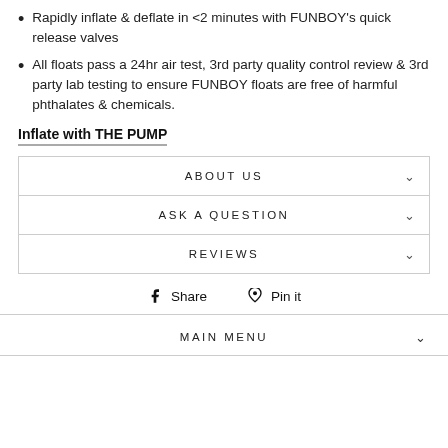Rapidly inflate & deflate in <2 minutes with FUNBOY's quick release valves
All floats pass a 24hr air test, 3rd party quality control review & 3rd party lab testing to ensure FUNBOY floats are free of harmful phthalates & chemicals.
Inflate with THE PUMP
ABOUT US
ASK A QUESTION
REVIEWS
Share
Pin it
MAIN MENU